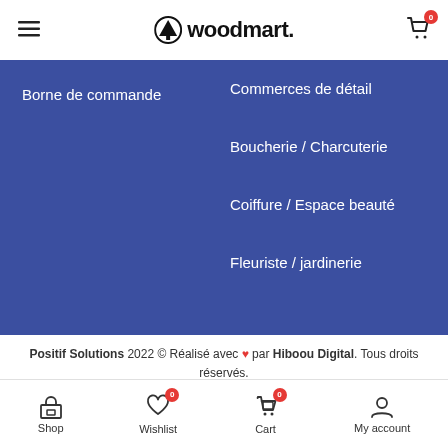woodmart. [logo with tree icon, hamburger menu, cart with 0 badge]
Borne de commande
Commerces de détail
Boucherie / Charcuterie
Coiffure / Espace beauté
Fleuriste / jardinerie
Positif Solutions 2022 © Réalisé avec ❤ par Hiboou Digital. Tous droits réservés.
MENTIONS LÉGALES    POLITIQUE DE CONFIDENTIALITÉ
CGV
Shop  Wishlist (0)  Cart (0)  My account